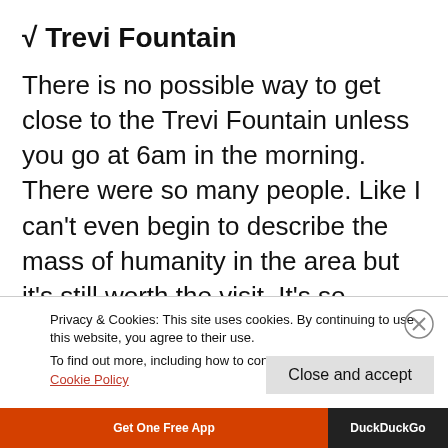√ Trevi Fountain
There is no possible way to get close to the Trevi Fountain unless you go at 6am in the morning. There were so many people. Like I can't even begin to describe the mass of humanity in the area but it's still worth the visit. It's so horribly crowded so you better
Privacy & Cookies: This site uses cookies. By continuing to use this website, you agree to their use.
To find out more, including how to control cookies, see here: Cookie Policy
Close and accept
Get One Free App   DuckDuckGo